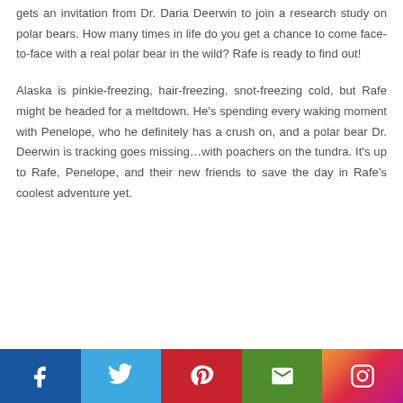gets an invitation from Dr. Daria Deerwin to join a research study on polar bears. How many times in life do you get a chance to come face-to-face with a real polar bear in the wild? Rafe is ready to find out!
Alaska is pinkie-freezing, hair-freezing, snot-freezing cold, but Rafe might be headed for a meltdown. He's spending every waking moment with Penelope, who he definitely has a crush on, and a polar bear Dr. Deerwin is tracking goes missing…with poachers on the tundra. It's up to Rafe, Penelope, and their new friends to save the day in Rafe's coolest adventure yet.
[Figure (infographic): Social media sharing bar with icons for Facebook (dark blue), Twitter (light blue), Pinterest (red), Email (green), and Instagram (gradient pink/purple)]